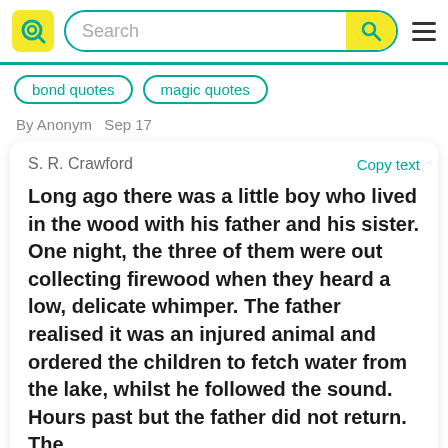Search [search bar with logo and menu]
bond quotes
magic quotes
By Anonym  Sep 17
S. R. Crawford
Copy text
Long ago there was a little boy who lived in the wood with his father and his sister. One night, the three of them were out collecting firewood when they heard a low, delicate whimper. The father realised it was an injured animal and ordered the children to fetch water from the lake, whilst he followed the sound. Hours past but the father did not return. The